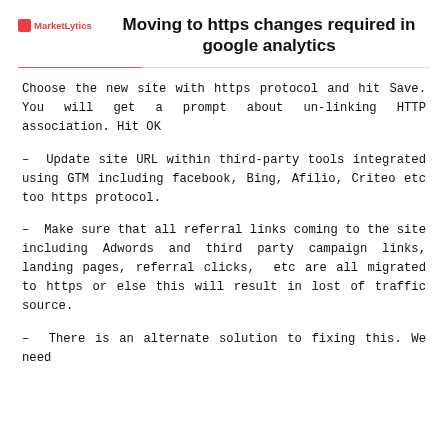MarketLytics
Moving to https changes required in google analytics
Choose the new site with https protocol and hit Save. You will get a prompt about un-linking HTTP association. Hit OK
– Update site URL within third-party tools integrated using GTM including facebook, Bing, Afilio, Criteo etc too https protocol.
– Make sure that all referral links coming to the site including Adwords and third party campaign links, landing pages, referral clicks,  etc are all migrated to https or else this will result in lost of traffic source.
– There is an alternate solution to fixing this. We need